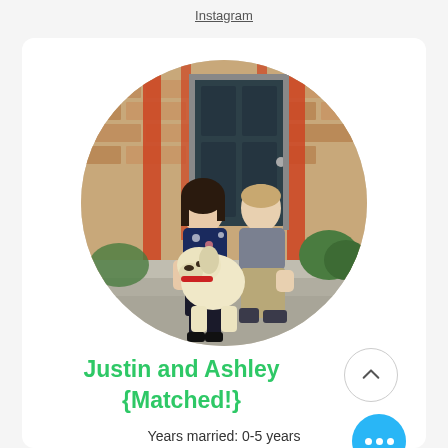Instagram
[Figure (photo): Circular photo of a couple (Justin and Ashley) sitting on front steps with a white golden retriever dog. The background shows a brick house with dark teal door and red lattice accents.]
Justin and Ashley {Matched!}
Years married: 0-5 years
Age: Both 30-35